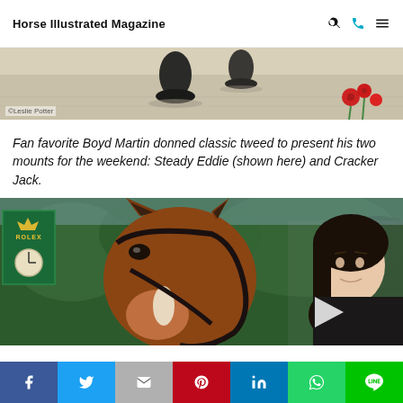Horse Illustrated Magazine
[Figure (photo): Cropped bottom portion of a horse hooves photo on sandy ground with red flowers, photo credit ©Leslie Potter]
Fan favorite Boyd Martin donned classic tweed to present his two mounts for the weekend: Steady Eddie (shown here) and Cracker Jack.
[Figure (photo): Close-up photo of a chestnut horse head facing camera with Rolex sponsor sign visible on the left, a woman with dark hair visible on the right, and a play button triangle overlay]
Social share bar: Facebook, Twitter, Email, Pinterest, LinkedIn, WhatsApp, LINE